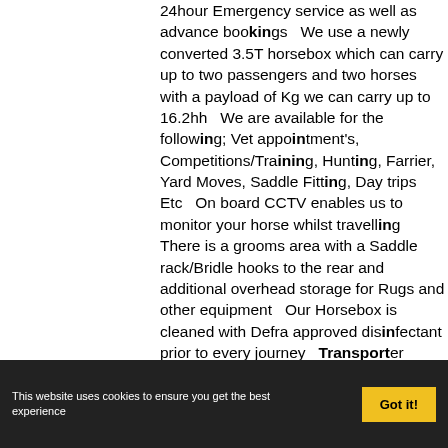24hour Emergency service as well as advance bookings   We use a newly converted 3.5T horsebox which can carry up to two passengers and two horses with a payload of Kg we can carry up to 16.2hh   We are available for the following; Vet appointment's, Competitions/Training, Hunting, Farrier, Yard Moves, Saddle Fitting, Day trips Etc   On board CCTV enables us to monitor your horse whilst travelling   There is a grooms area with a Saddle rack/Bridle hooks to the rear and additional overhead storage for Rugs and other equipment   Our Horsebox is cleaned with Defra approved disinfectant prior to every journey   Transporter Authorisation reference:
This website uses cookies to ensure you get the best experience